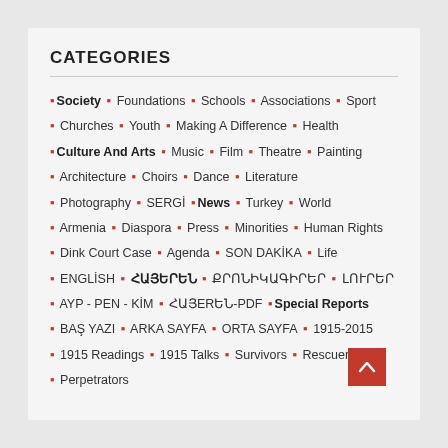CATEGORIES
Society • Foundations • Schools • Associations • Sport
Churches • Youth • Making A Difference • Health
Culture And Arts • Music • Film • Theatre • Painting
Architecture • Choirs • Dance • Literature
Photography • SERGİ • News • Turkey • World
Armenia • Diaspora • Press • Minorities • Human Rights
Dink Court Case • Agenda • SON DAKİKA • Life
ENGLİSH • ՀԱՅΕΡԵՆ • ՔՐՈՆԻԿԱԳԻՐԵՐ • ԼՈՒՐԵՐ
AYP - PEN - KİM • ՀԱՅERԵՆ-PDF • Special Reports
BAŞ YAZI • ARKA SAYFA • ORTA SAYFA • 1915-2015
1915 Readings • 1915 Talks • Survivors • Rescuers
Perpetrators